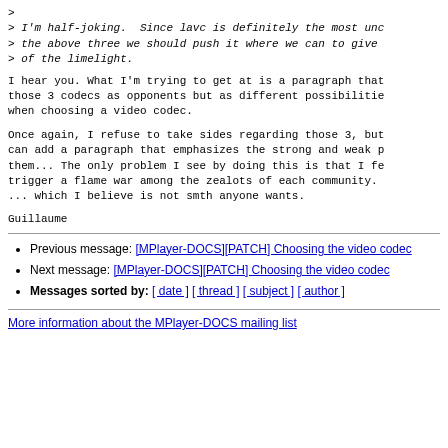> 
> I'm half-joking.  Since lavc is definitely the most und...
> the above three we should push it where we can to give...
> of the limelight.
I hear you. What I'm trying to get at is a paragraph that...
those 3 codecs as opponents but as different possibilities...
when choosing a video codec.
Once again, I refuse to take sides regarding those 3, but...
can add a paragraph that emphasizes the strong and weak p...
them... The only problem I see by doing this is that I fe...
trigger a flame war among the zealots of each community....
... which I believe is not smth anyone wants.
Guillaume
Previous message: [MPlayer-DOCS][PATCH] Choosing the video codec
Next message: [MPlayer-DOCS][PATCH] Choosing the video codec
Messages sorted by: [ date ] [ thread ] [ subject ] [ author ]
More information about the MPlayer-DOCS mailing list